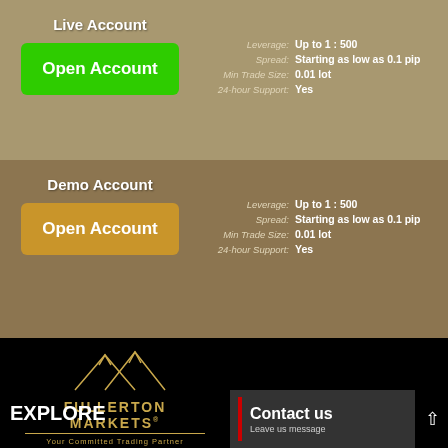Live Account
Open Account
Leverage: Up to 1 : 500
Spread: Starting as low as 0.1 pip
Min Trade Size: 0.01 lot
24-hour Support: Yes
Demo Account
Open Account
Leverage: Up to 1 : 500
Spread: Starting as low as 0.1 pip
Min Trade Size: 0.01 lot
24-hour Support: Yes
[Figure (logo): Fullerton Markets logo with mountain graphic and tagline 'Your Committed Trading Partner']
EXPLORE
Contact us
Leave us message